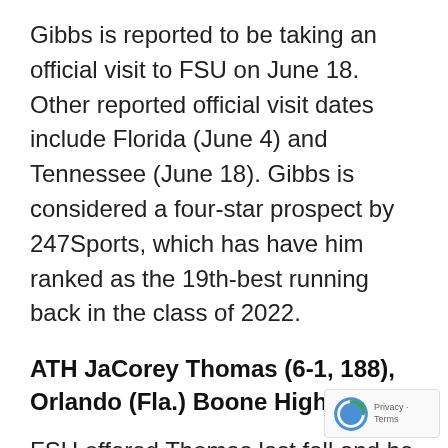Gibbs is reported to be taking an official visit to FSU on June 18. Other reported official visit dates include Florida (June 4) and Tennessee (June 18). Gibbs is considered a four-star prospect by 247Sports, which has have him ranked as the 19th-best running back in the class of 2022.
ATH JaCorey Thomas (6-1, 188), Orlando (Fla.) Boone High
FSU offered Thomas last fall and he has reportedly set an official date of June 25